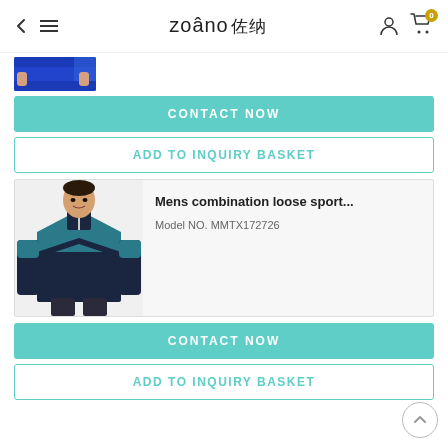zoâno 佐纳
[Figure (photo): Partial view of a blue sportswear product thumbnail at top of page]
CONTACT NOW
ADD TO INQUIRY BASKET
[Figure (photo): Male model wearing a dark navy and teal combination loose sport long-sleeve top]
Mens combination loose sport...
Model NO. MMTX172726
CONTACT NOW
ADD TO INQUIRY BASKET